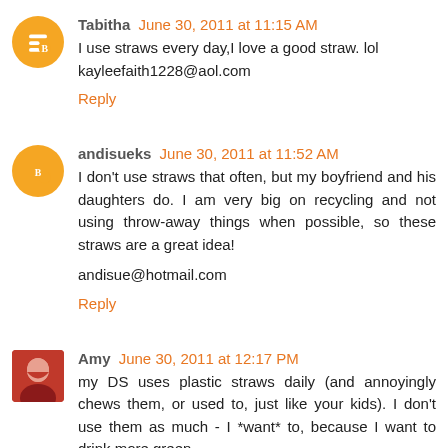Tabitha June 30, 2011 at 11:15 AM
I use straws every day,I love a good straw. lol kayleefaith1228@aol.com
Reply
andisueks June 30, 2011 at 11:52 AM
I don't use straws that often, but my boyfriend and his daughters do. I am very big on recycling and not using throw-away things when possible, so these straws are a great idea!
andisue@hotmail.com
Reply
Amy June 30, 2011 at 12:17 PM
my DS uses plastic straws daily (and annoyingly chews them, or used to, just like your kids). I don't use them as much - I *want* to, because I want to drink more green